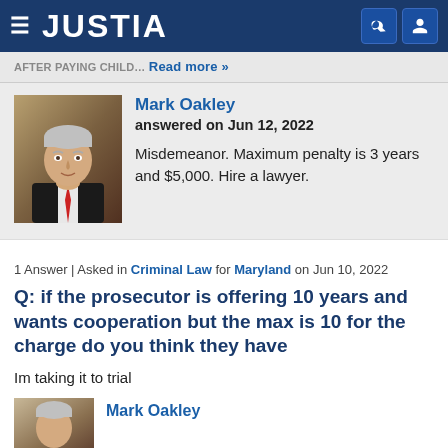JUSTIA
AFTER PAYING CHILD... Read more »
Mark Oakley answered on Jun 12, 2022 Misdemeanor. Maximum penalty is 3 years and $5,000. Hire a lawyer.
1 Answer | Asked in Criminal Law for Maryland on Jun 10, 2022
Q: if the prosecutor is offering 10 years and wants cooperation but the max is 10 for the charge do you think they have
Im taking it to trial
Mark Oakley